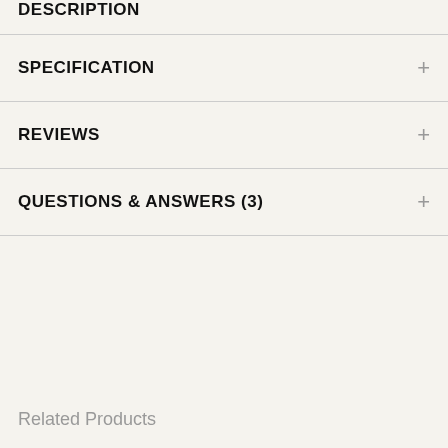DESCRIPTION
SPECIFICATION
REVIEWS
QUESTIONS & ANSWERS (3)
Related Products